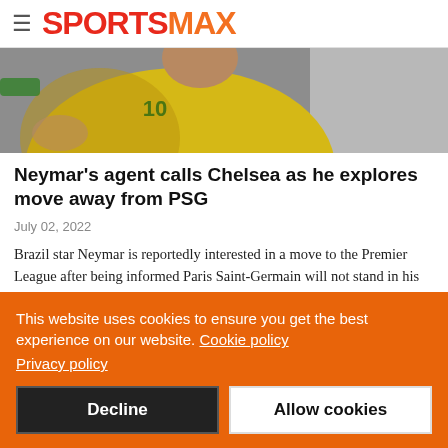SPORTSMAX
[Figure (photo): Neymar in yellow Brazil national team jersey with number 10, upper body visible against a grey background]
Neymar's agent calls Chelsea as he explores move away from PSG
July 02, 2022
Brazil star Neymar is reportedly interested in a move to the Premier League after being informed Paris Saint-Germain will not stand in his way if he wishes to depart.
This website uses cookies to ensure you get the best experience on our website. Cookie policy Privacy policy
Decline
Allow cookies